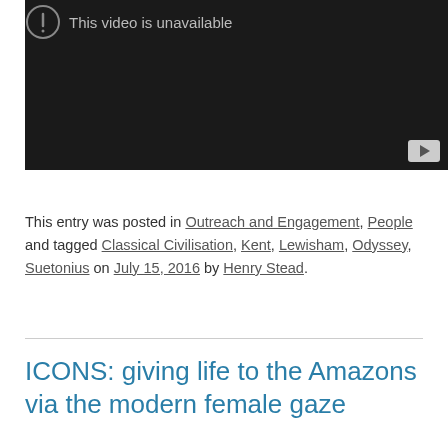[Figure (screenshot): YouTube video embed showing 'This video is unavailable' message on a dark background with YouTube play button in bottom-right corner]
This entry was posted in Outreach and Engagement, People and tagged Classical Civilisation, Kent, Lewisham, Odyssey, Suetonius on July 15, 2016 by Henry Stead.
ICONS: giving life to the Amazons via the modern female gaze